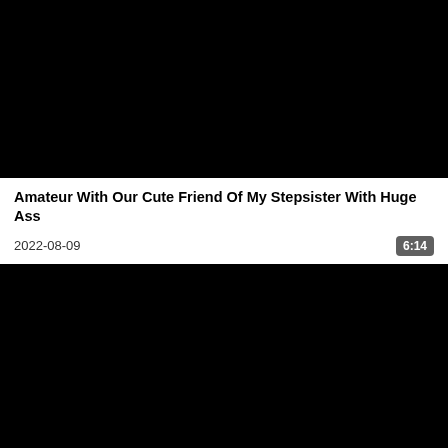[Figure (screenshot): Black video thumbnail placeholder for first video]
Amateur With Our Cute Friend Of My Stepsister With Huge Ass
2022-08-09
6:14
[Figure (screenshot): Black video thumbnail placeholder for second video]